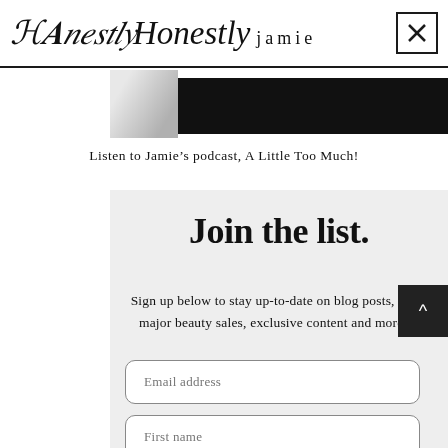Honestly Jamie [close button]
[Figure (photo): Partial image strip showing a dark/black background and partial light image on a blog page header area]
Listen to Jamie’s podcast, A Little Too Much!
Join the list.
Sign up below to stay up-to-date on blog posts, the major beauty sales, exclusive content and more.
Email address
First name